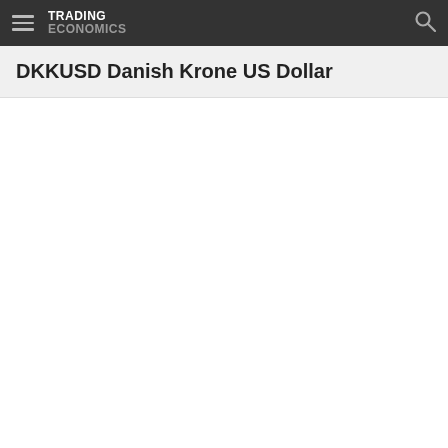TRADING ECONOMICS
DKKUSD Danish Krone US Dollar